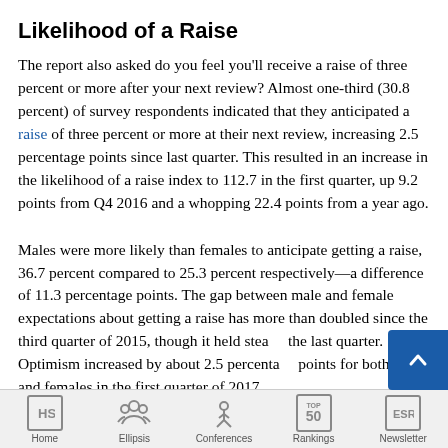Likelihood of a Raise
The report also asked do you feel you'll receive a raise of three percent or more after your next review? Almost one-third (30.8 percent) of survey respondents indicated that they anticipated a raise of three percent or more at their next review, increasing 2.5 percentage points since last quarter. This resulted in an increase in the likelihood of a raise index to 112.7 in the first quarter, up 9.2 points from Q4 2016 and a whopping 22.4 points from a year ago.
Males were more likely than females to anticipate getting a raise, 36.7 percent compared to 25.3 percent respectively—a difference of 11.3 percentage points. The gap between male and female expectations about getting a raise has more than doubled since the third quarter of 2015, though it held steady the last quarter. Optimism increased by about 2.5 percentage points for both males and females in the first quarter of 2017.
Home  Ellipsis  Conferences  Rankings  Newsletter